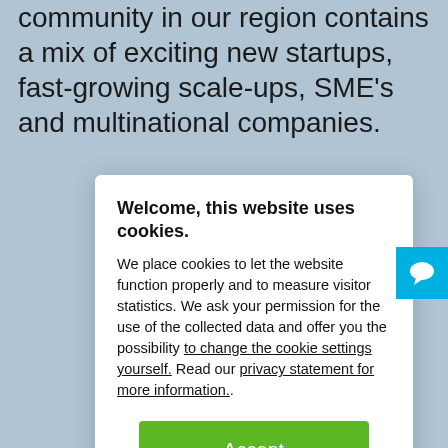community in our region contains a mix of exciting new startups, fast-growing scale-ups, SME's and multinational companies.
Welcome, this website uses cookies.
We place cookies to let the website function properly and to measure visitor statistics. We ask your permission for the use of the collected data and offer you the possibility to change the cookie settings yourself. Read our privacy statement for more information..
Accept